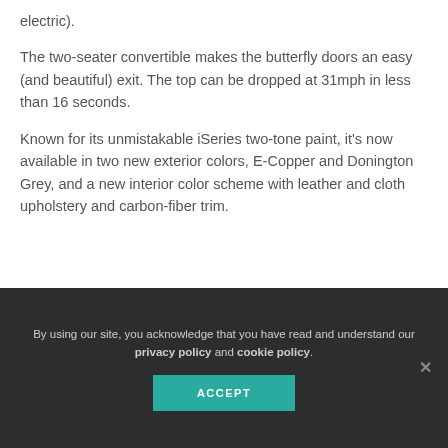electric).
The two-seater convertible makes the butterfly doors an easy (and beautiful) exit. The top can be dropped at 31mph in less than 16 seconds.
Known for its unmistakable iSeries two-tone paint, it's now available in two new exterior colors, E-Copper and Donington Grey, and a new interior color scheme with leather and cloth upholstery and carbon-fiber trim.
By using our site, you acknowledge that you have read and understand our privacy policy and cookie policy. ACCEPT